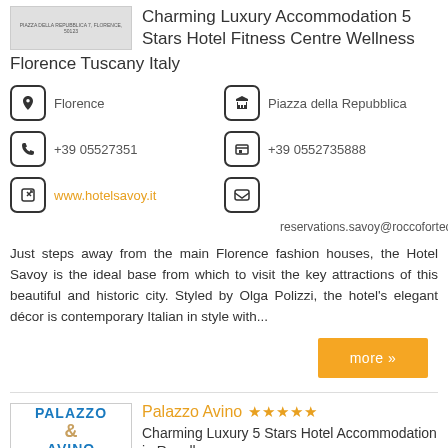[Figure (photo): Small hotel image with address text PIAZZA DELLA REPUBBLICA 7, FLORENCE, 50123]
Charming Luxury Accommodation 5 Stars Hotel Fitness Centre Wellness
Florence Tuscany Italy
Florence
Piazza della Repubblica
+39 05527351
+39 0552735888
www.hotelsavoy.it
reservations.savoy@roccofortecollec
Just steps away from the main Florence fashion houses, the Hotel Savoy is the ideal base from which to visit the key attractions of this beautiful and historic city. Styled by Olga Polizzi, the hotel's elegant décor is contemporary Italian in style with...
more »
[Figure (logo): Palazzo Avino logo with blue text and gold ampersand]
Palazzo Avino ★★★★★
Charming Luxury 5 Stars Hotel Accommodation in Ravello on